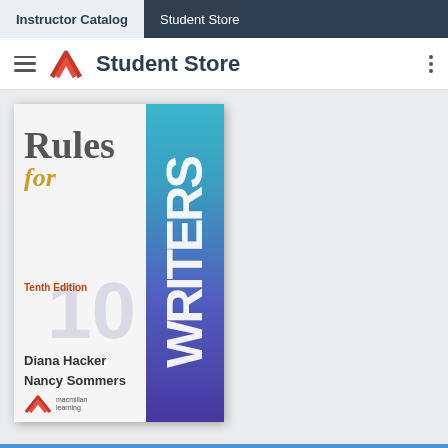Instructor Catalog | Student Store
Student Store
[Figure (illustration): Book cover of 'Rules for Writers, Tenth Edition' by Diana Hacker and Nancy Sommers, published by Macmillan Learning. The cover features 'WRITERS' in large vertical text in teal-to-purple gradient on the right side, 'Rules for' in gray/gold serif font on the left, '10' watermark, 'Tenth Edition' label, and authors' names at the bottom left.]